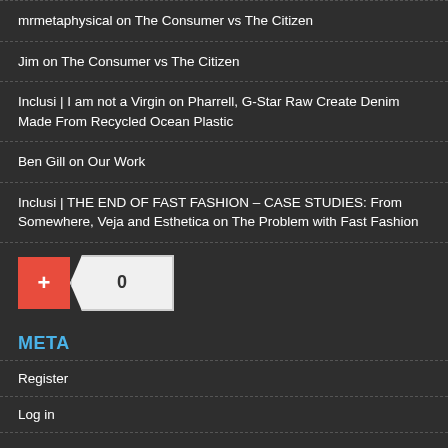mrmetaphysical on The Consumer vs The Citizen
Jim on The Consumer vs The Citizen
Inclusi | I am not a Virgin on Pharrell, G-Star Raw Create Denim Made From Recycled Ocean Plastic
Ben Gill on Our Work
Inclusi | THE END OF FAST FASHION – CASE STUDIES: From Somewhere, Veja and Esthetica on The Problem with Fast Fashion
[Figure (other): Red plus button (+) and a white count box showing 0 with arrow pointing left]
META
Register
Log in